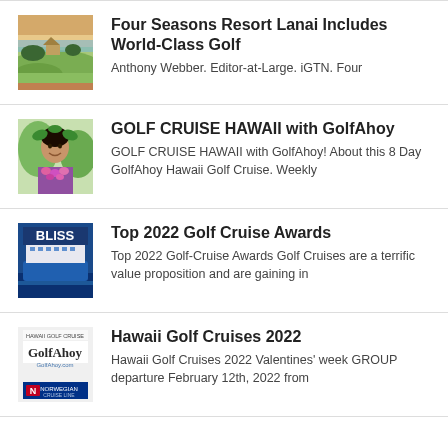Four Seasons Resort Lanai Includes World-Class Golf
Anthony Webber. Editor-at-Large. iGTN. Four
GOLF CRUISE HAWAII with GolfAhoy
GOLF CRUISE HAWAII with GolfAhoy! About this 8 Day GolfAhoy Hawaii Golf Cruise. Weekly
Top 2022 Golf Cruise Awards
Top 2022 Golf-Cruise Awards Golf Cruises are a terrific value proposition and are gaining in
Hawaii Golf Cruises 2022
Hawaii Golf Cruises 2022 Valentines' week GROUP departure February 12th, 2022 from